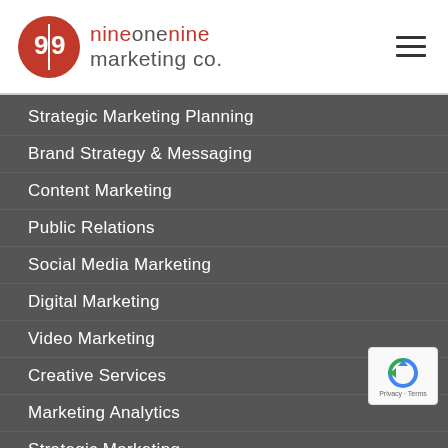nineonenine marketing co.
Strategic Marketing Planning
Brand Strategy & Messaging
Content Marketing
Public Relations
Social Media Marketing
Digital Marketing
Video Marketing
Creative Services
Marketing Analytics
Strategic Marketing
Who We Are
[Figure (logo): reCAPTCHA badge with recycle arrow icon and Privacy - Terms text]